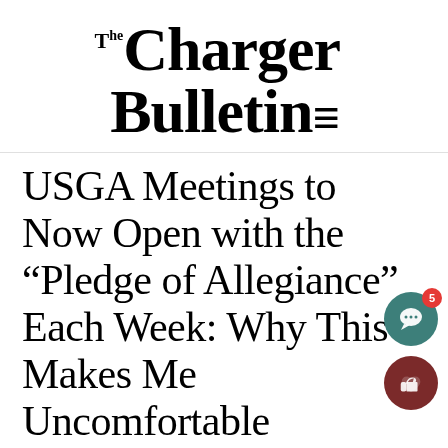The Charger Bulletin
USGA Meetings to Now Open with the “Pledge of Allegiance” Each Week: Why This Makes Me Uncomfortable
Elizabeth Field
OCTOBER 24, 2012
Don’t call me un-American. I love my country. I believe deeply in the dogma and principles in whi…